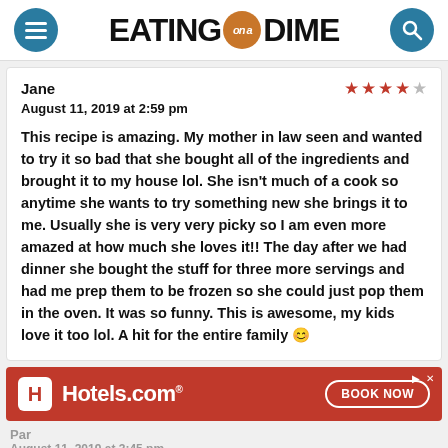[Figure (logo): Eating on a Dime website header logo with menu button on left, search button on right]
Jane
August 11, 2019 at 2:59 pm

This recipe is amazing. My mother in law seen and wanted to try it so bad that she bought all of the ingredients and brought it to my house lol. She isn't much of a cook so anytime she wants to try something new she brings it to me. Usually she is very very picky so I am even more amazed at how much she loves it!! The day after we had dinner she bought the stuff for three more servings and had me prep them to be frozen so she could just pop them in the oven. It was so funny. This is awesome, my kids love it too lol. A hit for the entire family 😊
[Figure (screenshot): Hotels.com advertisement banner with red background, Hotels.com logo on left, BOOK NOW button on right]
Par...
August 11, 2019 at 3:45 pm